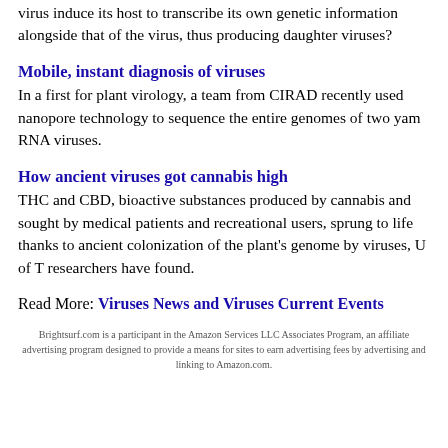virus induce its host to transcribe its own genetic information alongside that of the virus, thus producing daughter viruses?
Mobile, instant diagnosis of viruses
In a first for plant virology, a team from CIRAD recently used nanopore technology to sequence the entire genomes of two yam RNA viruses.
How ancient viruses got cannabis high
THC and CBD, bioactive substances produced by cannabis and sought by medical patients and recreational users, sprung to life thanks to ancient colonization of the plant's genome by viruses, U of T researchers have found.
Read More: Viruses News and Viruses Current Events
Brightsurf.com is a participant in the Amazon Services LLC Associates Program, an affiliate advertising program designed to provide a means for sites to earn advertising fees by advertising and linking to Amazon.com.